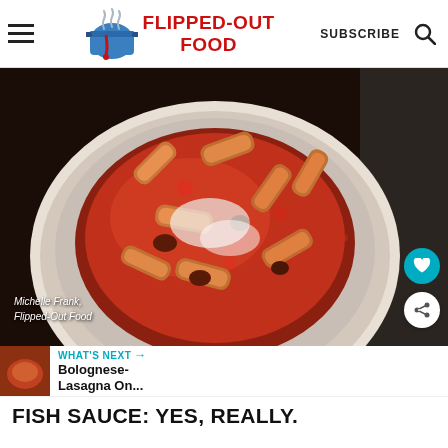FLIPPED-OUT FOOD  SUBSCRIBE
[Figure (photo): Bowl of rigatoni pasta with meat sauce (bolognese) served in a white bowl, photographed from above. Watermark reads: Michelle Frank, Flipped-Out Food]
WHAT'S NEXT → Bolognese-Lasagna On...
FISH SAUCE: YES, REALLY.